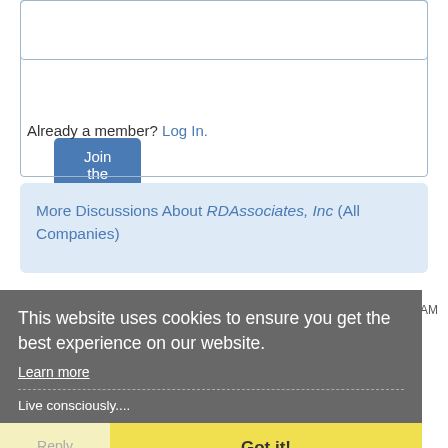[Figure (screenshot): Form input box (text field) within a bordered container]
[Figure (screenshot): Blue 'Join the Forum' button]
Already a member? Log In.
More Discussions About RDAssociates, Inc (All Companies)
Irene L.A. 19k ★ 9v ★  February 27, 2017 03:08AM
This website uses cookies to ensure you get the best experience on our website.
Learn more
Live consciously....
Reply
Got it!
Like This